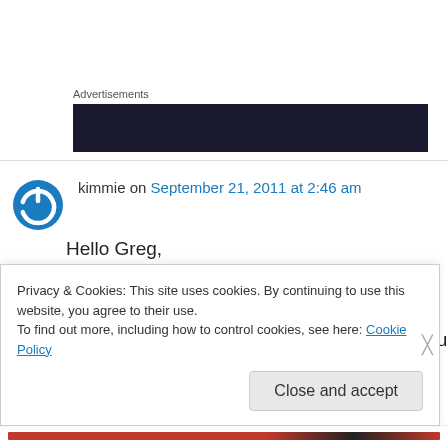Advertisements
[Figure (other): Dark advertisement banner placeholder]
kimmie on September 21, 2011 at 2:46 am
Hello Greg,

I am caring for my 78 year old mother that has been on dialysis for about a month now. My question for you is, did they prescribe you an
Privacy & Cookies: This site uses cookies. By continuing to use this website, you agree to their use.
To find out more, including how to control cookies, see here: Cookie Policy